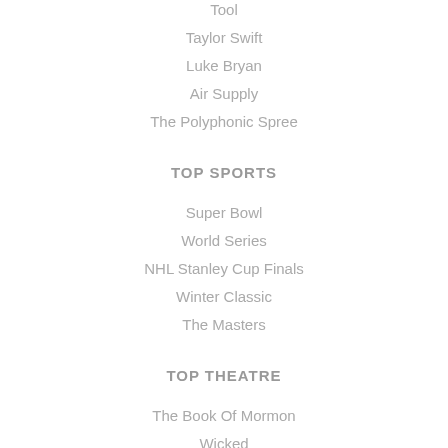Tool
Taylor Swift
Luke Bryan
Air Supply
The Polyphonic Spree
TOP SPORTS
Super Bowl
World Series
NHL Stanley Cup Finals
Winter Classic
The Masters
TOP THEATRE
The Book Of Mormon
Wicked
Dear Evan Hansen
The Lion King